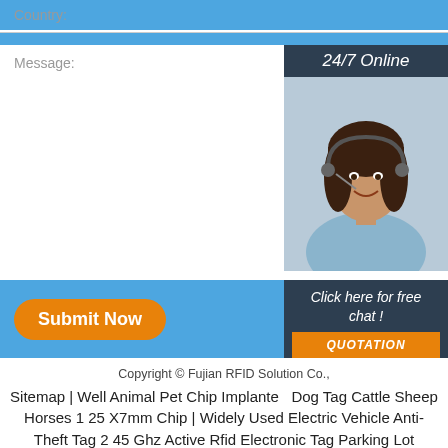Country:
Message:
[Figure (photo): Customer service representative with headset, dark hair, smiling, with '24/7 Online' header banner in dark blue]
Submit Now
Click here for free chat !
QUOTATION
Copyright © Fujian RFID Solution Co.,
Sitemap | Well Animal Pet Chip Implanted Dog Tag Cattle Sheep Horses 1 25 X7mm Chip | Widely Used Electric Vehicle Anti-Theft Tag 2 45 Ghz Active Rfid Electronic Tag Parking Lot Management Customization | Environmentally Friendly 3 Entrance Guard Id Key Card Tk4100 Induction 2 Key Chain Ornament Rfid Card Induction Twisted Buckle Card